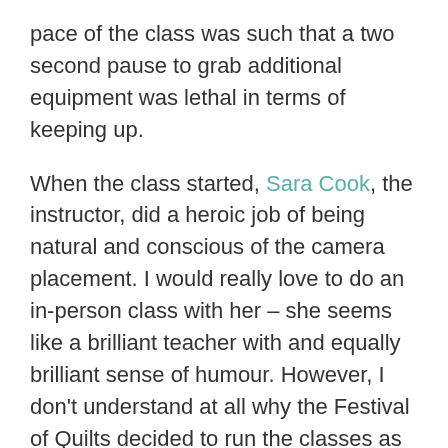pace of the class was such that a two second pause to grab additional equipment was lethal in terms of keeping up.
When the class started, Sara Cook, the instructor, did a heroic job of being natural and conscious of the camera placement. I would really love to do an in-person class with her – she seems like a brilliant teacher with and equally brilliant sense of humour. However, I don't understand at all why the Festival of Quilts decided to run the classes as live Zoom webinars, particularly when recordings were made available after a day. (They originally said it would be a week but it was much faster than that).
One of the things I don't like about the Zoom Webinar format is that it means there really is no opportunity to interact, or even see, other